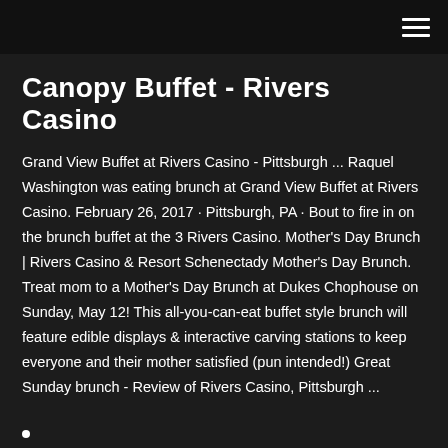Canopy Buffet - Rivers Casino
Grand View Buffet at Rivers Casino - Pittsburgh ... Raquel Washington was eating brunch at Grand View Buffet at Rivers Casino. February 26, 2017 · Pittsburgh, PA · Bout to fire in on the brunch buffet at the 3 Rivers Casino. Mother's Day Brunch | Rivers Casino & Resort Schenectady Mother's Day Brunch. Treat mom to a Mother's Day Brunch at Dukes Chophouse on Sunday, May 12! This all-you-can-eat buffet style brunch will feature edible displays & interactive carving stations to keep everyone and their mother satisfied (pun intended!) Great Sunday brunch - Review of Rivers Casino, Pittsburgh ...